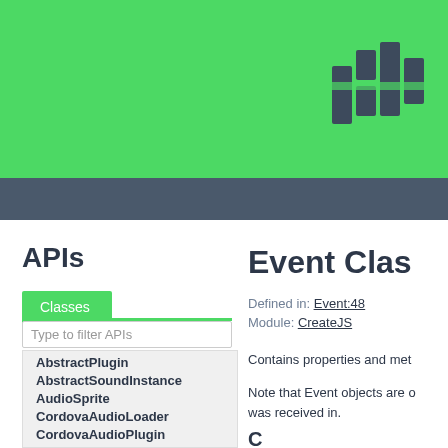[Figure (logo): Stacked vertical bars logo in dark gray on green background]
APIs
Classes
Event Clas
Defined in: Event:48
Module: CreateJS
Contains properties and me
Note that Event objects are o was received in.
AbstractPlugin
AbstractSoundInstance
AudioSprite
CordovaAudioLoader
CordovaAudioPlugin
CordovaAudioSoundInstance